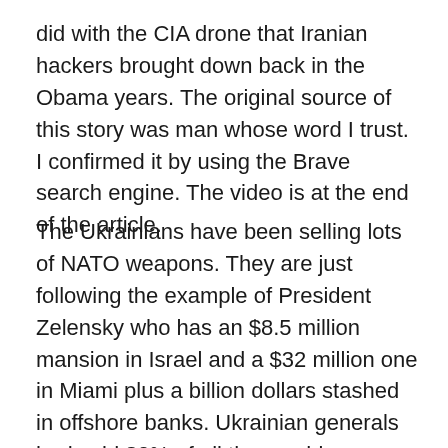did with the CIA drone that Iranian hackers brought down back in the Obama years. The original source of this story was man whose word I trust. I confirmed it by using the Brave search engine. The video is at the end of the article.
The Ukrainians have been selling lots of NATO weapons. They are just following the example of President Zelensky who has an $8.5 million mansion in Israel and a $32 million one in Miami plus a billion dollars stashed in offshore banks. Ukrainian generals had sold 80% of all the machine guns and RPGs (Rocket Propelled Grenades) NATO had given them prior to the beginning of the Special Military Operation on February 24th. I have read of NATO